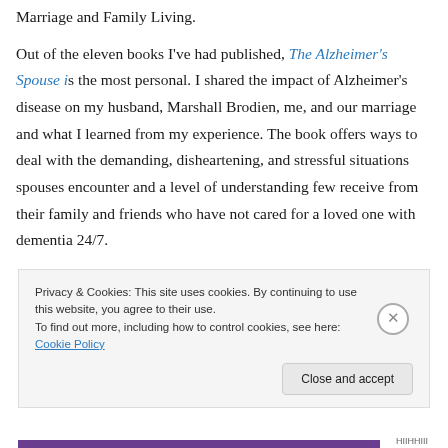Marriage and Family Living.
Out of the eleven books I've had published, The Alzheimer's Spouse is the most personal. I shared the impact of Alzheimer's disease on my husband, Marshall Brodien, me, and our marriage and what I learned from my experience. The book offers ways to deal with the demanding, disheartening, and stressful situations spouses encounter and a level of understanding few receive from their family and friends who have not cared for a loved one with dementia 24/7.
Privacy & Cookies: This site uses cookies. By continuing to use this website, you agree to their use. To find out more, including how to control cookies, see here: Cookie Policy
Close and accept